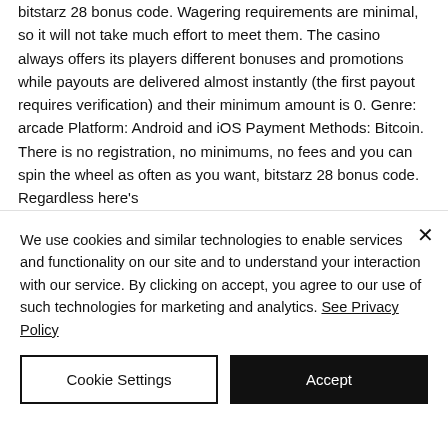bitstarz 28 bonus code. Wagering requirements are minimal, so it will not take much effort to meet them. The casino always offers its players different bonuses and promotions while payouts are delivered almost instantly (the first payout requires verification) and their minimum amount is 0. Genre: arcade Platform: Android and iOS Payment Methods: Bitcoin. There is no registration, no minimums, no fees and you can spin the wheel as often as you want, bitstarz 28 bonus code. Regardless here's
We use cookies and similar technologies to enable services and functionality on our site and to understand your interaction with our service. By clicking on accept, you agree to our use of such technologies for marketing and analytics. See Privacy Policy
Cookie Settings
Accept